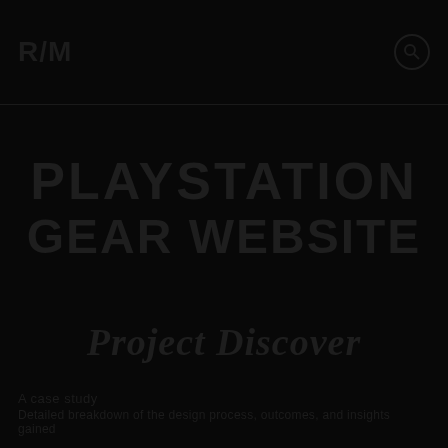R/M
PLAYSTATION GEAR WEBSITE
Project Discover
A case study with detailed description of the project and its outcomes